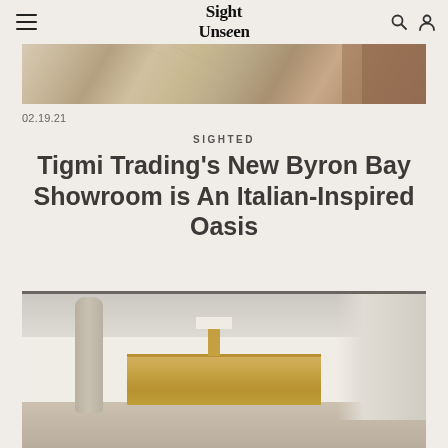Sight Unseen
[Figure (photo): Cropped top portion of a interior design/decor photo showing marble surfaces and warm-toned furnishings]
02.19.21
SIGHTED
Tigmi Trading's New Byron Bay Showroom is An Italian-Inspired Oasis
[Figure (photo): Interior showroom photo showing a minimalist room with a wooden dresser, table lamp, sculptural floor piece on the left, and curtains on the right, all in warm neutral tones]